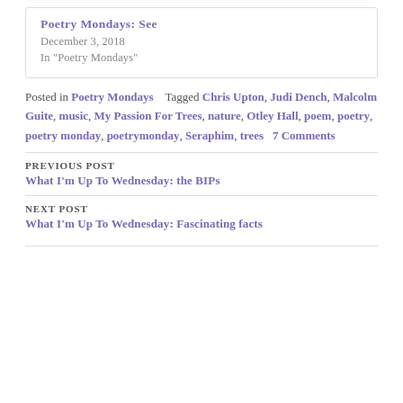Poetry Mondays: See
December 3, 2018
In "Poetry Mondays"
Posted in Poetry Mondays    Tagged Chris Upton, Judi Dench, Malcolm Guite, music, My Passion For Trees, nature, Otley Hall, poem, poetry, poetry monday, poetrymonday, Seraphim, trees    7 Comments
PREVIOUS POST
What I'm Up To Wednesday: the BIPs
NEXT POST
What I'm Up To Wednesday: Fascinating facts